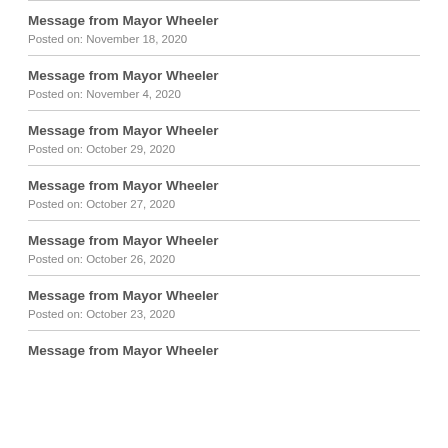Message from Mayor Wheeler
Posted on: November 18, 2020
Message from Mayor Wheeler
Posted on: November 4, 2020
Message from Mayor Wheeler
Posted on: October 29, 2020
Message from Mayor Wheeler
Posted on: October 27, 2020
Message from Mayor Wheeler
Posted on: October 26, 2020
Message from Mayor Wheeler
Posted on: October 23, 2020
Message from Mayor Wheeler